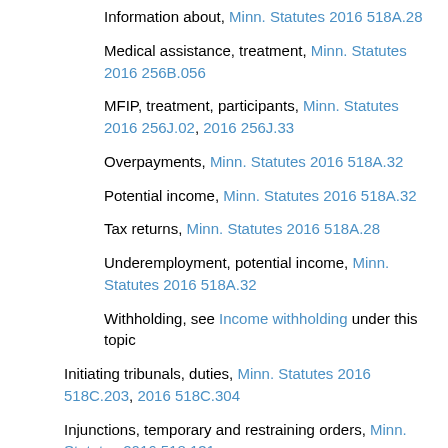Information about, Minn. Statutes 2016 518A.28
Medical assistance, treatment, Minn. Statutes 2016 256B.056
MFIP, treatment, participants, Minn. Statutes 2016 256J.02, 2016 256J.33
Overpayments, Minn. Statutes 2016 518A.32
Potential income, Minn. Statutes 2016 518A.32
Tax returns, Minn. Statutes 2016 518A.28
Underemployment, potential income, Minn. Statutes 2016 518A.32
Withholding, see Income withholding under this topic
Initiating tribunals, duties, Minn. Statutes 2016 518C.203, 2016 518C.304
Injunctions, temporary and restraining orders, Minn. Statutes 2016 518.131